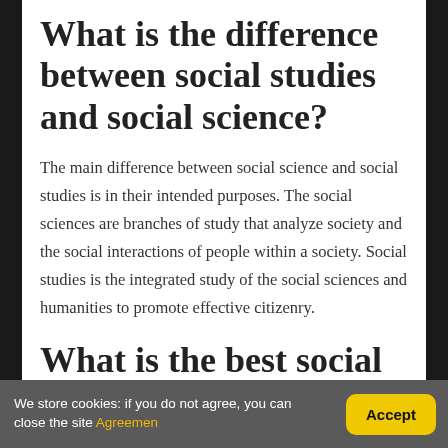What is the difference between social studies and social science?
The main difference between social science and social studies is in their intended purposes. The social sciences are branches of study that analyze society and the social interactions of people within a society. Social studies is the integrated study of the social sciences and humanities to promote effective citizenry.
What is the best social science
We store cookies: if you do not agree, you can close the site Agreemen